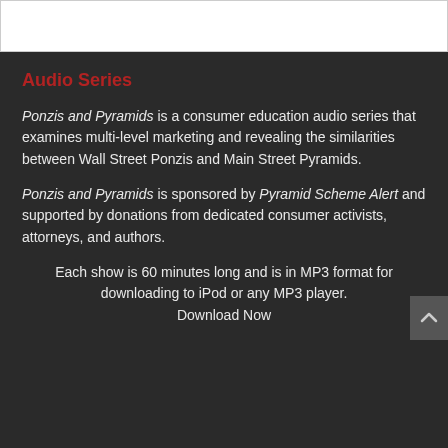Audio Series
Ponzis and Pyramids is a consumer education audio series that examines multi-level marketing and revealing the similarities between Wall Street Ponzis and Main Street Pyramids.
Ponzis and Pyramids is sponsored by Pyramid Scheme Alert and supported by donations from dedicated consumer activists, attorneys, and authors.
Each show is 60 minutes long and is in MP3 format for downloading to iPod or any MP3 player.
Download Now